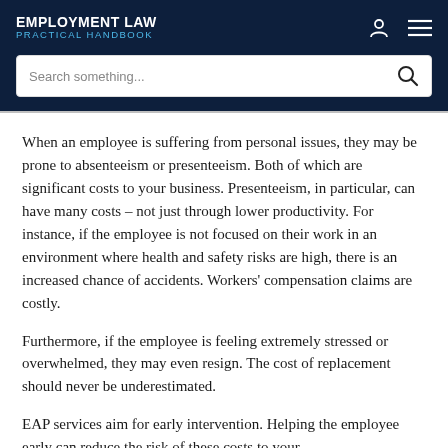EMPLOYMENT LAW PRACTICAL HANDBOOK
Search something...
When an employee is suffering from personal issues, they may be prone to absenteeism or presenteeism. Both of which are significant costs to your business. Presenteeism, in particular, can have many costs – not just through lower productivity. For instance, if the employee is not focused on their work in an environment where health and safety risks are high, there is an increased chance of accidents. Workers' compensation claims are costly.
Furthermore, if the employee is feeling extremely stressed or overwhelmed, they may even resign. The cost of replacement should never be underestimated.
EAP services aim for early intervention. Helping the employee early can reduce the risk of these costs to your